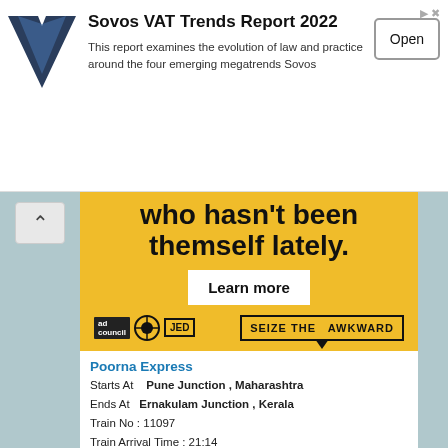[Figure (illustration): Sovos VAT Trends Report 2022 advertisement banner with Sovos V logo, title text, description, and Open button]
[Figure (illustration): Yellow background advertisement: 'who hasn't been themself lately.' with Learn more button and Seize the Awkward / ad council logos at bottom]
Poorna Express
Starts At   Pune Junction , Maharashtra
Ends At   Ernakulam Junction , Kerala
Train No : 11097
Train Arrival Time : 21:14
Train Departure Time : 21:16
Train Distance From Pune Junction , Maharashtra to Kundapura is 770.5
KSR Bengaluru - Karwar Express (Via Kunigal)
Starts At   KSR Bengaluru City Junction , Karnataka